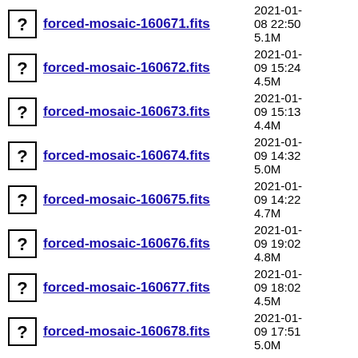forced-mosaic-160671.fits  2021-01-08 22:50  5.1M
forced-mosaic-160672.fits  2021-01-09 15:24  4.5M
forced-mosaic-160673.fits  2021-01-09 15:13  4.4M
forced-mosaic-160674.fits  2021-01-09 14:32  5.0M
forced-mosaic-160675.fits  2021-01-09 14:22  4.7M
forced-mosaic-160676.fits  2021-01-09 19:02  4.8M
forced-mosaic-160677.fits  2021-01-09 18:02  4.5M
forced-mosaic-160678.fits  2021-01-09 17:51  5.0M
forced-mosaic-160679.fits  2021-01-09 15:35  4.7M
forced-mosaic-160680.fits  2021-01-08 21:11  4.8M
forced-mosaic-160681.fits  2021-01-08 19:36  5.0M
forced-mosaic-160682.fits  2021-01-  4.8M